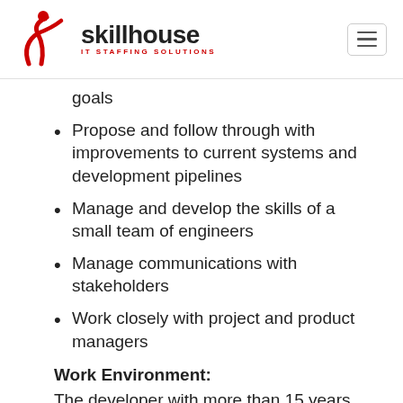[Figure (logo): Skillhouse IT Staffing Solutions logo with red figure icon and hamburger menu button]
goals
Propose and follow through with improvements to current systems and development pipelines
Manage and develop the skills of a small team of engineers
Manage communications with stakeholders
Work closely with project and product managers
Work Environment:
The developer with more than 15 years...